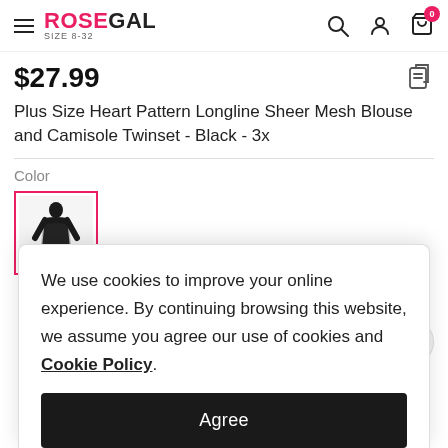ROSEGALGAL SIZE 8-32
$27.99
Plus Size Heart Pattern Longline Sheer Mesh Blouse and Camisole Twinset - Black - 3x
Color
[Figure (photo): Product color swatch thumbnail showing a model wearing a black longline sheer mesh blouse and camisole twinset, selected with a pink/red border]
We use cookies to improve your online experience. By continuing browsing this website, we assume you agree our use of cookies and Cookie Policy.
Agree